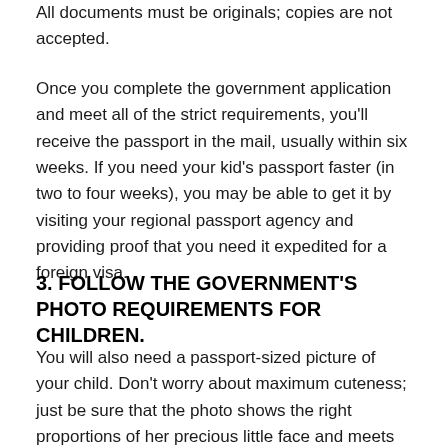All documents must be originals; copies are not accepted.
Once you complete the government application and meet all of the strict requirements, you'll receive the passport in the mail, usually within six weeks. If you need your kid's passport faster (in two to four weeks), you may be able to get it by visiting your regional passport agency and providing proof that you need it expedited for a foreign visa.
3. FOLLOW THE GOVERNMENT'S PHOTO REQUIREMENTS FOR CHILDREN.
You will also need a passport-sized picture of your child. Don't worry about maximum cuteness; just be sure that the photo shows the right proportions of her precious little face and meets all of the necessary photo requirements. You can